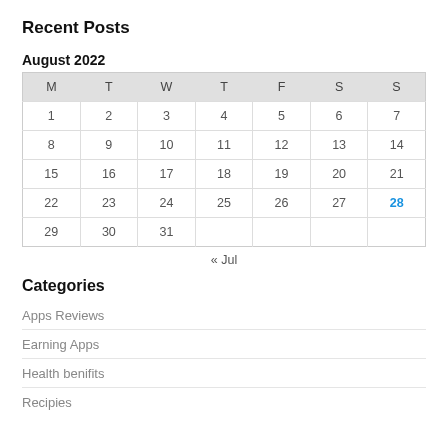Recent Posts
| M | T | W | T | F | S | S |
| --- | --- | --- | --- | --- | --- | --- |
| 1 | 2 | 3 | 4 | 5 | 6 | 7 |
| 8 | 9 | 10 | 11 | 12 | 13 | 14 |
| 15 | 16 | 17 | 18 | 19 | 20 | 21 |
| 22 | 23 | 24 | 25 | 26 | 27 | 28 |
| 29 | 30 | 31 |  |  |  |  |
« Jul
Categories
Apps Reviews
Earning Apps
Health benifits
Recipies